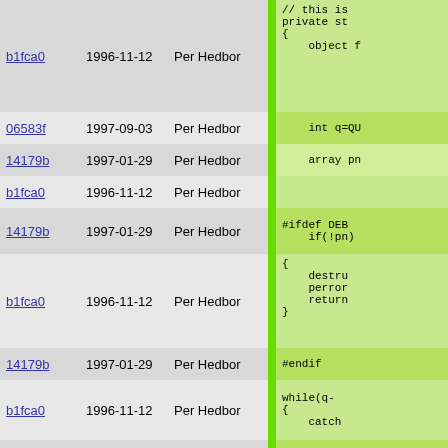| hash | date | author |  | code |
| --- | --- | --- | --- | --- |
| b1fca0 | 1996-11-12 | Per Hedbor |  | // This is
private st
{
    object f |
| 06583f | 1997-09-03 | Per Hedbor |  | int q=QU |
| 14179b | 1997-01-29 | Per Hedbor |  | array pn |
| b1fca0 | 1996-11-12 | Per Hedbor |  |  |
| 14179b | 1997-01-29 | Per Hedbor |  | #ifdef DEB
    if(!pn) |
| b1fca0 | 1996-11-12 | Per Hedbor |  | {
    destru
    perror
    return
} |
| 14179b | 1997-01-29 | Per Hedbor |  | #endif |
| b1fca0 | 1996-11-12 | Per Hedbor |  | while(q-
{
    catch |
| 14179b | 1997-01-29 | Per Hedbor |  | #ifdef SOC
    if(!pn |
| b1fca0 | 1996-11-12 | Per Hedbor |  | {
    repo
    if(f
    retu
} |